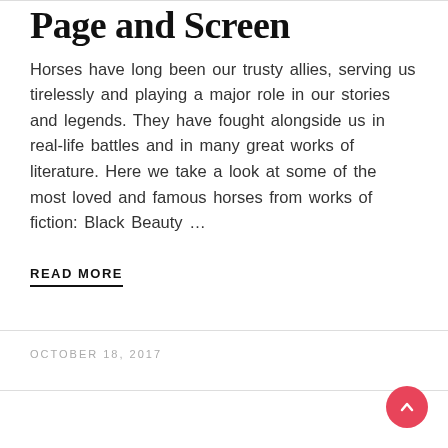Page and Screen
Horses have long been our trusty allies, serving us tirelessly and playing a major role in our stories and legends. They have fought alongside us in real-life battles and in many great works of literature. Here we take a look at some of the most loved and famous horses from works of fiction: Black Beauty …
READ MORE
OCTOBER 18, 2017